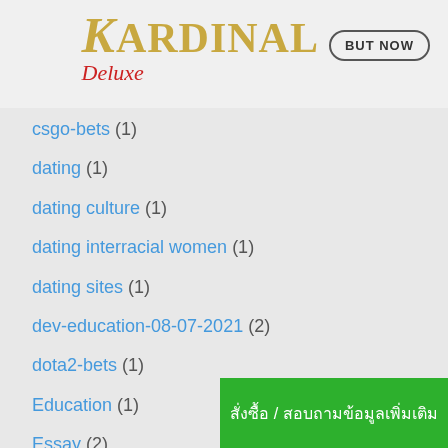[Figure (logo): Kardinal Deluxe logo in gold and red script with BUT NOW button]
csgo-bets (1)
dating (1)
dating culture (1)
dating interracial women (1)
dating sites (1)
dev-education-08-07-2021 (2)
dota2-bets (1)
Education (1)
Essay (2)
faq (1)
สั่งซื้อ / สอบถามข้อมูลเพิ่มเติม